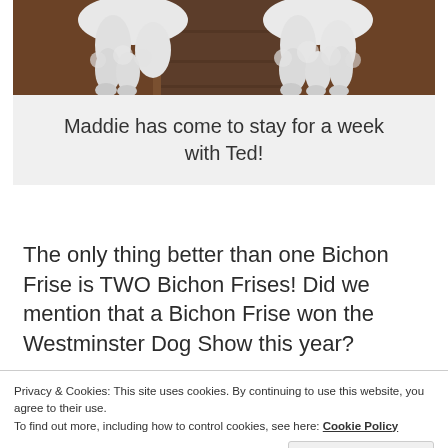[Figure (photo): Close-up photo showing the lower bodies and paws of two white fluffy dogs (Bichon Frises) standing on what appears to be wooden stairs or floor]
Maddie has come to stay for a week with Ted!
The only thing better than one Bichon Frise is TWO Bichon Frises! Did we mention that a Bichon Frise won the Westminster Dog Show this year?
Privacy & Cookies: This site uses cookies. By continuing to use this website, you agree to their use.
To find out more, including how to control cookies, see here: Cookie Policy
Close and accept
Advertisements